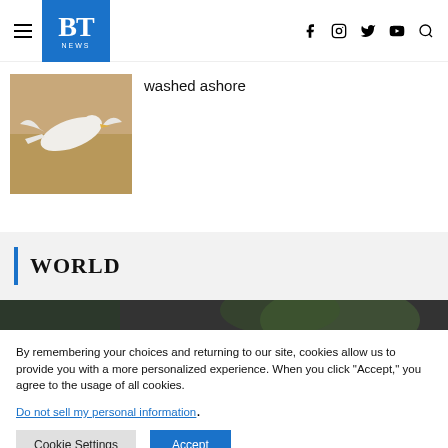BT NEWS — social icons: facebook, instagram, twitter, youtube, search
[Figure (photo): Photo of a seabird (white gull/tern) on sandy beach]
washed ashore
WORLD
[Figure (photo): Dark blurred outdoor image, partial round shape visible, green foliage background]
By remembering your choices and returning to our site, cookies allow us to provide you with a more personalized experience. When you click "Accept," you agree to the usage of all cookies.
Do not sell my personal information.